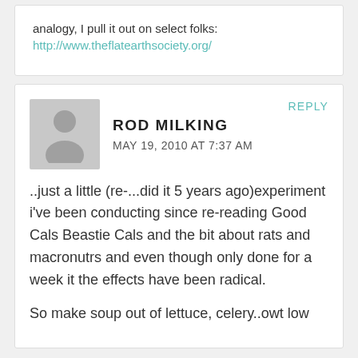analogy, I pull it out on select folks:
http://www.theflatearthsociety.org/
ROD MILKING
MAY 19, 2010 AT 7:37 AM
REPLY
..just a little (re-...did it 5 years ago)experiment i've been conducting since re-reading Good Cals Beastie Cals and the bit about rats and macronutrs and even though only done for a week it the effects have been radical.
So make soup out of lettuce, celery..owt low